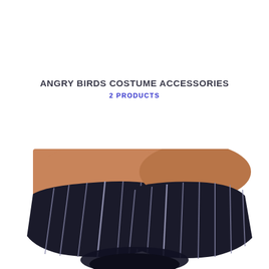ANGRY BIRDS COSTUME ACCESSORIES
2 PRODUCTS
[Figure (photo): Two hands wearing dark black gloves with white stripe detailing (Angry Birds costume accessory gloves), wrists showing skin, hands clasped together at center bottom of frame against white background.]